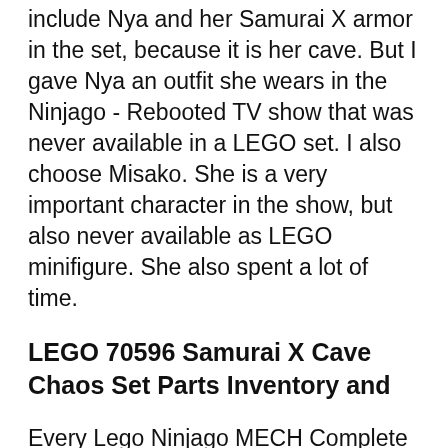include Nya and her Samurai X armor in the set, because it is her cave. But I gave Nya an outfit she wears in the Ninjago - Rebooted TV show that was never available in a LEGO set. I also choose Misako. She is a very important character in the show, but also never available as LEGO minifigure. She also spent a lot of time.
LEGO 70596 Samurai X Cave Chaos Set Parts Inventory and
Every Lego Ninjago MECH Complete Collection! - YouTube. 09/03/2018 · How to build the 2017 Lego Ninjago set 70625 - Samurai VXL. This set has 428 pieces and is suitable for ages 7-14. 4